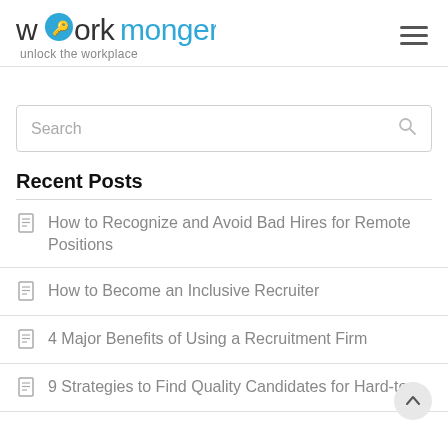[Figure (logo): Workmonger logo with blue circle replacing 'o', tagline 'unlock the workplace']
Search
Recent Posts
How to Recognize and Avoid Bad Hires for Remote Positions
How to Become an Inclusive Recruiter
4 Major Benefits of Using a Recruitment Firm
9 Strategies to Find Quality Candidates for Hard-to-